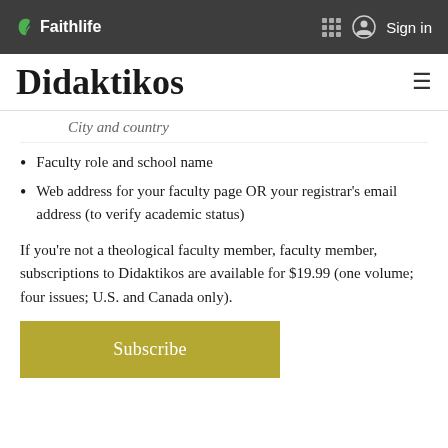Faithlife | Sign in
Didaktikos
City and country
Faculty role and school name
Web address for your faculty page OR your registrar's email address (to verify academic status)
If you're not a theological faculty member, faculty member, subscriptions to Didaktikos are available for $19.99 (one volume; four issues; U.S. and Canada only).
Subscribe